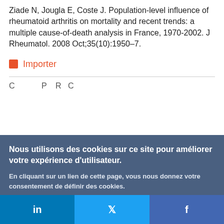Ziade N, Jougla E, Coste J. Population-level influence of rheumatoid arthritis on mortality and recent trends: a multiple cause-of-death analysis in France, 1970-2002. J Rheumatol. 2008 Oct;35(10):1950–7.
Importer
Nous utilisons des cookies sur ce site pour améliorer votre expérience d'utilisateur.
En cliquant sur un lien de cette page, vous nous donnez votre consentement de définir des cookies.
Oui, je suis d'accord
Plus d'infos
in   f